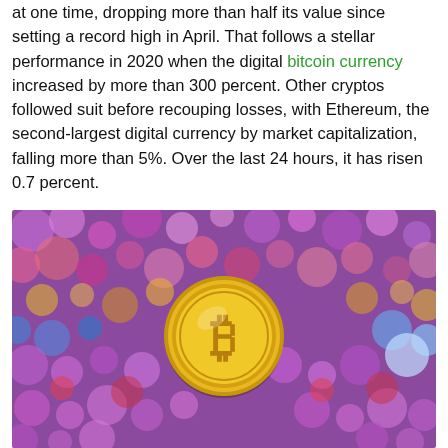at one time, dropping more than half its value since setting a record high in April. That follows a stellar performance in 2020 when the digital bitcoin currency increased by more than 300 percent. Other cryptos followed suit before recouping losses, with Ethereum, the second-largest digital currency by market capitalization, falling more than 5%. Over the last 24 hours, it has risen 0.7 percent.
[Figure (photo): A gold Bitcoin coin with the letter B and double-strikethrough symbol, floating in front of a colorful bokeh background of blurred circles in purple, pink, red, yellow, blue, and teal tones.]